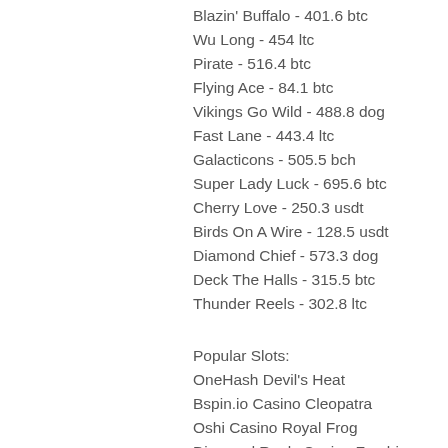Blazin' Buffalo - 401.6 btc
Wu Long - 454 ltc
Pirate - 516.4 btc
Flying Ace - 84.1 btc
Vikings Go Wild - 488.8 dog
Fast Lane - 443.4 ltc
Galacticons - 505.5 bch
Super Lady Luck - 695.6 btc
Cherry Love - 250.3 usdt
Birds On A Wire - 128.5 usdt
Diamond Chief - 573.3 dog
Deck The Halls - 315.5 btc
Thunder Reels - 302.8 ltc
Popular Slots:
OneHash Devil's Heat
Bspin.io Casino Cleopatra
Oshi Casino Royal Frog
Diamond Reels Casino Zombiezee Money
https://www.southislandmedia.com/profile/val